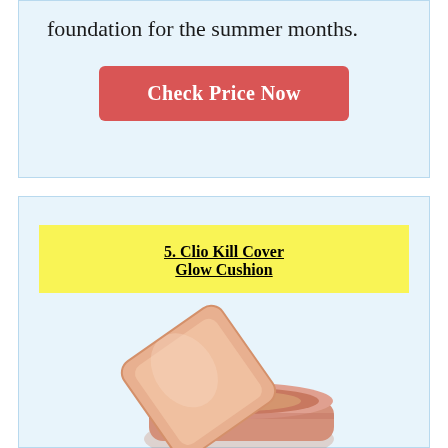foundation for the summer months.
Check Price Now
5. Clio Kill Cover Glow Cushion
[Figure (photo): Clio Kill Cover Glow Cushion compact makeup product in rose gold/peach color, shown open with lid propped against the compact base]